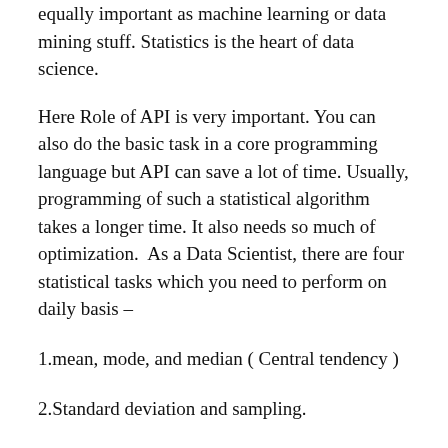equally important as machine learning or data mining stuff. Statistics is the heart of data science.
Here Role of API is very important. You can also do the basic task in a core programming language but API can save a lot of time. Usually, programming of such a statistical algorithm takes a longer time. It also needs so much of optimization.  As a Data Scientist, there are four statistical tasks which you need to perform on daily basis –
1.mean, mode, and median ( Central tendency )
2.Standard deviation and sampling.
3.Hypothesis testing